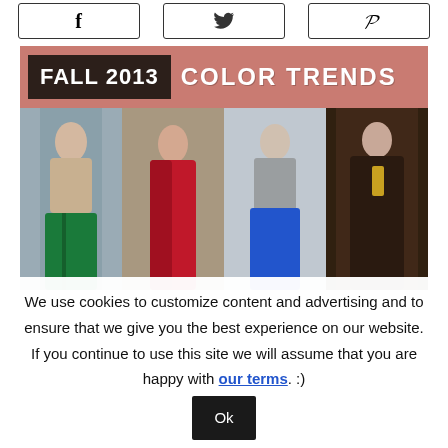[Figure (screenshot): Social share buttons: Facebook (f), Twitter (bird icon), Pinterest (P)]
[Figure (infographic): Fall 2013 Color Trends banner with four fashion model photos showing green skirt, red dress, blue skirt, and brown leather coat]
We use cookies to customize content and advertising and to ensure that we give you the best experience on our website. If you continue to use this site we will assume that you are happy with our terms. :)